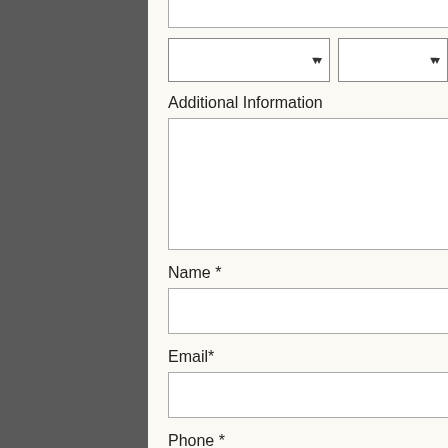[Figure (screenshot): Web form partial view showing two dropdown selects, a textarea labeled Additional Information, and text input fields for Name, Email, Phone, and Organization]
Additional Information
Name *
Email*
Phone *
Organization